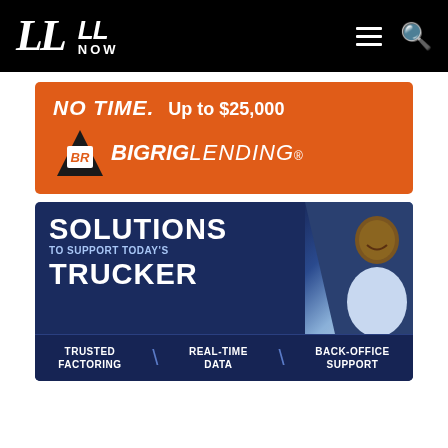LL | LL NOW
[Figure (infographic): Big Rig Lending advertisement banner on orange background. Text: NO TIME. Up to $25,000. BR Big Rig Lending logo with shield icon.]
[Figure (infographic): Solutions advertisement on dark blue background with smiling man photo. Text: SOLUTIONS TO SUPPORT TODAY'S TRUCKER. Bottom row: TRUSTED FACTORING | REAL-TIME DATA | BACK-OFFICE SUPPORT]